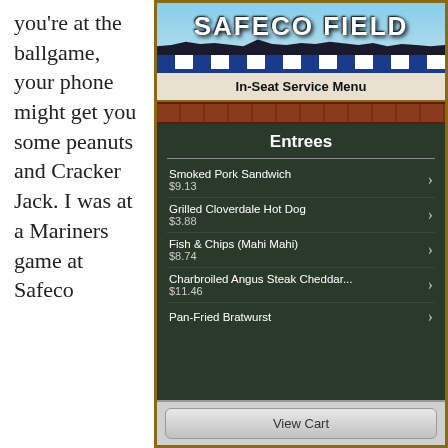you're at the ballgame, your phone might get you some peanuts and Cracker Jack. I was at a Mariners game at Safeco
[Figure (screenshot): Screenshot of the Safeco Field mobile app In-Seat Service Menu showing an entrees list with items: Smoked Pork Sandwich $9.13, Grilled Cloverdale Hot Dog $3.88, Fish & Chips (Mahi Mahi) $8.74, Charbroiled Angus Steak Cheddar... $11.46, Pan-Fried Bratwurst, and a View Cart button at the bottom.]